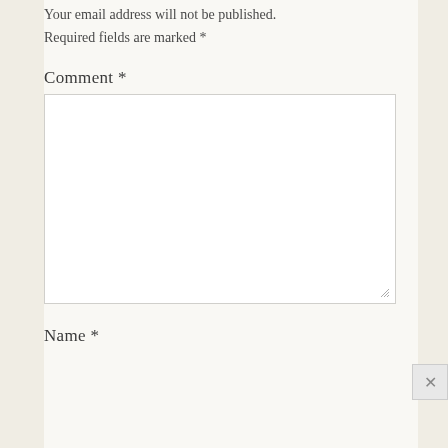Your email address will not be published.
Required fields are marked *
Comment *
[Figure (other): Empty comment textarea input box with resize handle at bottom right]
Name *